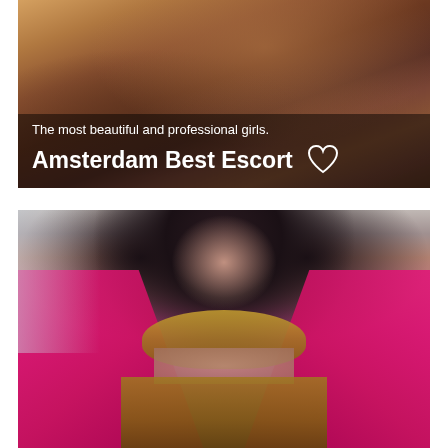[Figure (photo): Top card: a close-up photo of two people on a bed with warm orange/brown tones. Overlaid text reads 'The most beautiful and professional girls.' and 'Amsterdam Best Escort' with a heart icon.]
[Figure (photo): Bottom card: a photo of a woman with dark hair wearing a bright magenta/pink open coat with a leopard-print bikini underneath, posed in front of a blurred indoor background.]